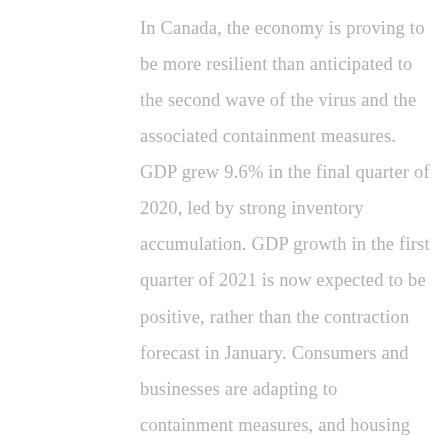In Canada, the economy is proving to be more resilient than anticipated to the second wave of the virus and the associated containment measures. GDP grew 9.6% in the final quarter of 2020, led by strong inventory accumulation. GDP growth in the first quarter of 2021 is now expected to be positive, rather than the contraction forecast in January. Consumers and businesses are adapting to containment measures, and housing market activity has been much stronger than expected. Improving foreign demand and higher commodity prices have also contributed to more favourable economic...